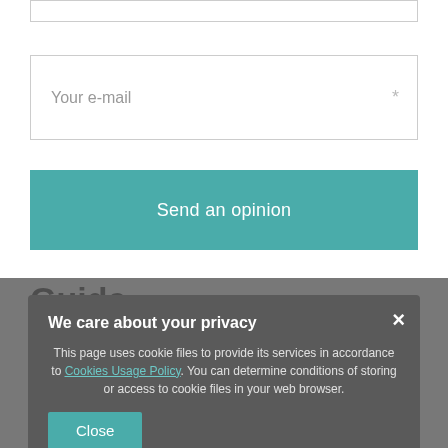[Figure (screenshot): Partially visible input text field at top of page]
Your e-mail  *
Send an opinion
Guide
In life every step counts.
[Figure (screenshot): Privacy cookie consent modal overlay with title 'We care about your privacy', body text about cookies usage policy, and a Close button]
Read more